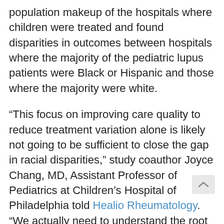population makeup of the hospitals where children were treated and found disparities in outcomes between hospitals where the majority of the pediatric lupus patients were Black or Hispanic and those where the majority were white.
“This focus on improving care quality to reduce treatment variation alone is likely not going to be sufficient to close the gap in racial disparities,” study coauthor Joyce Chang, MD, Assistant Professor of Pediatrics at Children’s Hospital of Philadelphia told Healio Rheumatology. “We actually need to understand the root causes of racial inequities in order to identify processes that would preferentially target improved outcomes